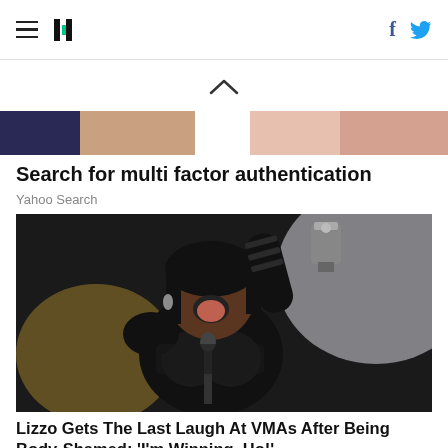HuffPost navigation with hamburger menu, logo, Facebook and Twitter icons
[Figure (screenshot): Upward chevron arrow indicating scroll up]
[Figure (photo): Horizontal thumbnail strip showing partial portrait images]
Search for multi factor authentication
Yahoo Search
[Figure (photo): Lizzo holding a VMA award trophy above her head, wearing a black outfit, mouth open in celebration, on an awards show stage]
Lizzo Gets The Last Laugh At VMAs After Being Body-Shamed: 'I'm Winning, Ho!'
HuffPost